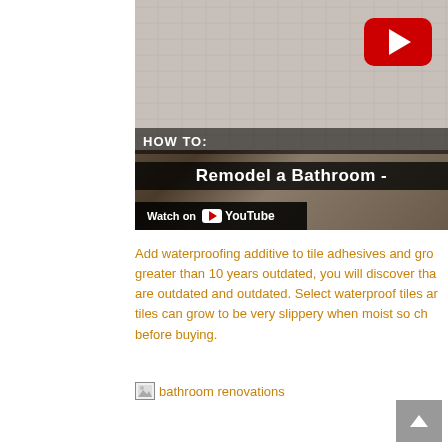[Figure (screenshot): YouTube video thumbnail showing a bathroom with white subway tiles and a chrome door handle. Overlay text reads 'HOW TO: Remodel a Bathroom -' with a red YouTube play button in the top right and a 'Watch on YouTube' bar at the bottom.]
Add waterproofing additive to tile adhesives and gro... greater than 10 years outdated, you will discover tha... are outdated and outdated. Select waterproof tiles ar... tiles can grow to be very slippery when moist so ch... before buying.
[Figure (photo): Small image placeholder labeled 'bathroom renovations']